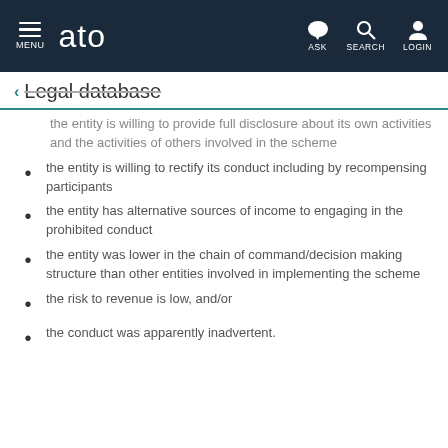MENU | ato | ASK | SEARCH | LOGIN
Legal database
the entity is willing to provide full disclosure about its own activities and the activities of others involved in the scheme
the entity is willing to rectify its conduct including by recompensing participants
the entity has alternative sources of income to engaging in the prohibited conduct
the entity was lower in the chain of command/decision making structure than other entities involved in implementing the scheme
the risk to revenue is low, and/or
the conduct was apparently inadvertent.